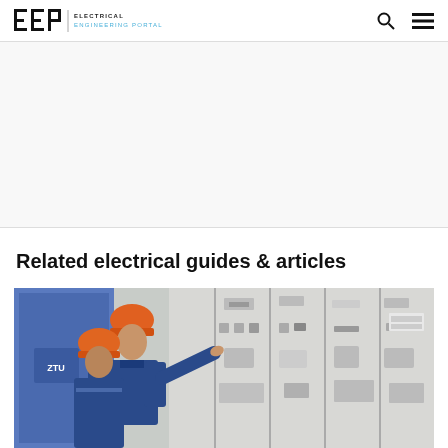EEP | ELECTRICAL ENGINEERING PORTAL
Related electrical guides & articles
[Figure (photo): Two engineers wearing orange hard hats and blue uniforms inspecting a large electrical switchgear panel in an industrial facility. One engineer is pointing at the equipment.]